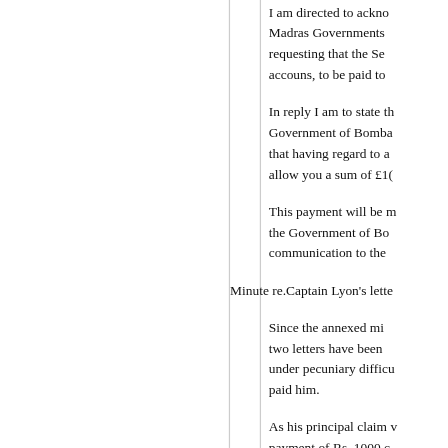I am directed to acknowledge receipt of the Madras Governments letter No. dated requesting that the Secretary of State in Accounts, to be paid to...
In reply I am to state that the Government of Bombay... that having regard to allow you a sum of £10...
This payment will be made through the Government of Bombay... communication to the...
Minute re.Captain Lyon's lette...
Since the annexed minute was written, two letters have been received. He is under pecuniary difficulties... paid him.
As his principal claim was for the payment of Rs. 1000 o... sums, which has now... no longer a necessity to... solicits on account of the... Govt. gave him the £2... and last para (5) of the... as to the number of ph... taken.